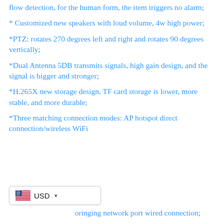flow detection, for the human form, the item triggers no alarm;
* Customized new speakers with loud volume, 4w high power;
*PTZ: rotates 270 degrees left and right and rotates 90 degrees vertically;
*Dual Antenna 5DB transmits signals, high gain design, and the signal is bigger and stronger;
*H.265X new storage design, TF card storage is lower, more stable, and more durable;
*Three matching connection modes: AP hotspot direct connection/wireless WiFi
[Figure (screenshot): Currency selector widget showing USD with US flag and dropdown arrow]
connection;